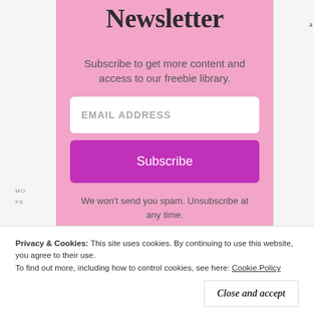Newsletter
Subscribe to get more content and access to our freebie library.
EMAIL ADDRESS
Subscribe
We won't send you spam. Unsubscribe at any time.
Privacy & Cookies: This site uses cookies. By continuing to use this website, you agree to their use.
To find out more, including how to control cookies, see here: Cookie Policy
Close and accept